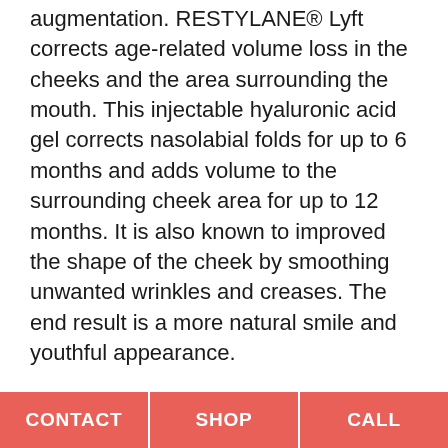augmentation. RESTYLANE® Lyft corrects age-related volume loss in the cheeks and the area surrounding the mouth. This injectable hyaluronic acid gel corrects nasolabial folds for up to 6 months and adds volume to the surrounding cheek area for up to 12 months. It is also known to improved the shape of the cheek by smoothing unwanted wrinkles and creases. The end result is a more natural smile and youthful appearance.
What Can I Expect From a Restylane Treatment?
During the initial consultation, talk about your medical history so your provider can make sure you're a candidate for Restylane dermal filler
CONTACT | SHOP | CALL